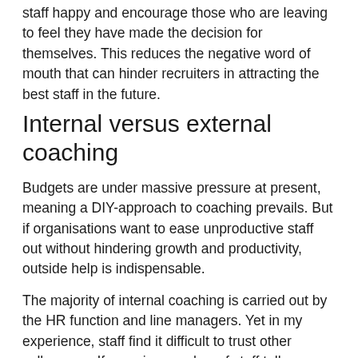staff happy and encourage those who are leaving to feel they have made the decision for themselves. This reduces the negative word of mouth that can hinder recruiters in attracting the best staff in the future.
Internal versus external coaching
Budgets are under massive pressure at present, meaning a DIY-approach to coaching prevails. But if organisations want to ease unproductive staff out without hindering growth and productivity, outside help is indispensable.
The majority of internal coaching is carried out by the HR function and line managers. Yet in my experience, staff find it difficult to trust other colleagues. If a senior member of staff tells an internal manager or coach they have issues performing their role, its hard for them to dispel that negative perception later. For example, an employee who has recently been promoted will find it difficult to confide in their manager that they are feeling overwhelmed in their new position.